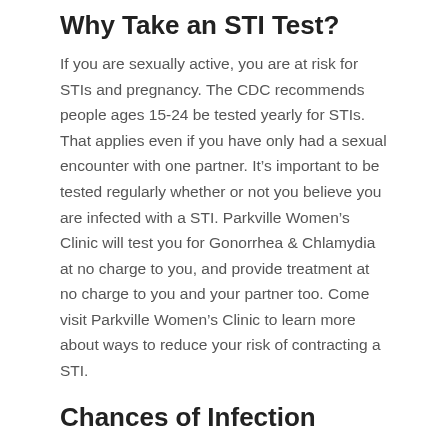Why Take an STI Test?
If you are sexually active, you are at risk for STIs and pregnancy. The CDC recommends people ages 15-24 be tested yearly for STIs. That applies even if you have only had a sexual encounter with one partner. It’s important to be tested regularly whether or not you believe you are infected with a STI. Parkville Women’s Clinic will test you for Gonorrhea & Chlamydia at no charge to you, and provide treatment at no charge to you and your partner too. Come visit Parkville Women’s Clinic to learn more about ways to reduce your risk of contracting a STI.
Chances of Infection
Every year in the U.S. there are an estimated 19 million new STI infections, and half of all new STI